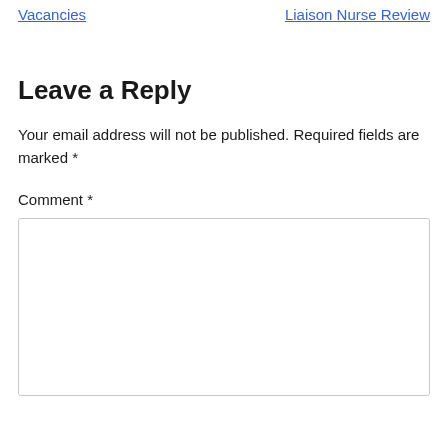Vacancies
Liaison Nurse Review
Leave a Reply
Your email address will not be published. Required fields are marked *
Comment *